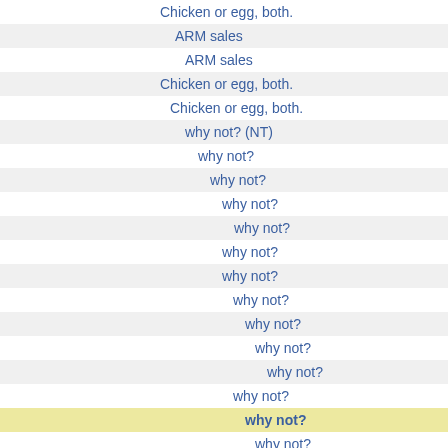Chicken or egg, both.
ARM sales
ARM sales
Chicken or egg, both.
Chicken or egg, both.
why not? (NT)
why not?
why not?
why not?
why not?
why not?
why not?
why not?
why not?
why not?
why not?
why not?
why not?
why not?
why not?
why not?
why not?
why not?
why not?